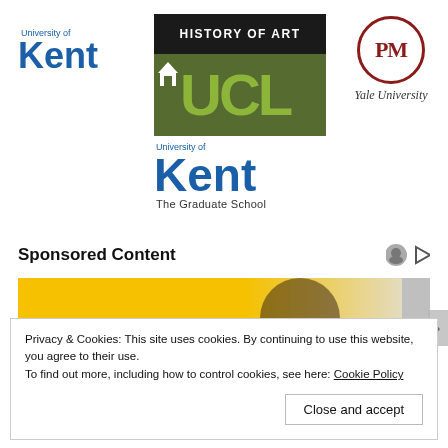[Figure (logo): University of Kent logo (blue text)]
[Figure (logo): UCL History of Art logo (black and green bar with white/green lettering)]
[Figure (logo): Yale University Paul Mellon Centre PM logo (red circle, italic Yale University text)]
[Figure (logo): University of Kent The Graduate School logo (blue text)]
Sponsored Content
[Figure (photo): Partial photo of a person with yellow background, sponsored content image]
Privacy & Cookies: This site uses cookies. By continuing to use this website, you agree to their use.
To find out more, including how to control cookies, see here: Cookie Policy
Close and accept